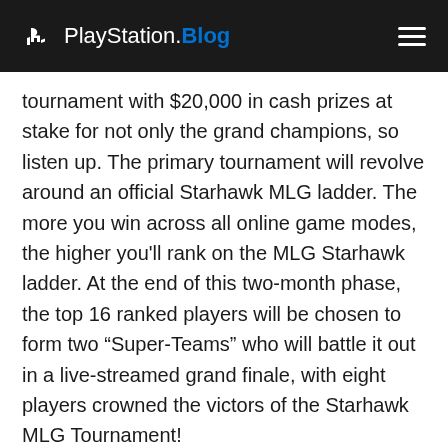PlayStation.Blog
tournament with $20,000 in cash prizes at stake for not only the grand champions, so listen up. The primary tournament will revolve around an official Starhawk MLG ladder. The more you win across all online game modes, the higher you'll rank on the MLG Starhawk ladder. At the end of this two-month phase, the top 16 ranked players will be chosen to form two “Super-Teams” who will battle it out in a live-streamed grand finale, with eight players crowned the victors of the Starhawk MLG Tournament!
As a secondary option for all players to win, the MLG has also been really cool about planning four mini-